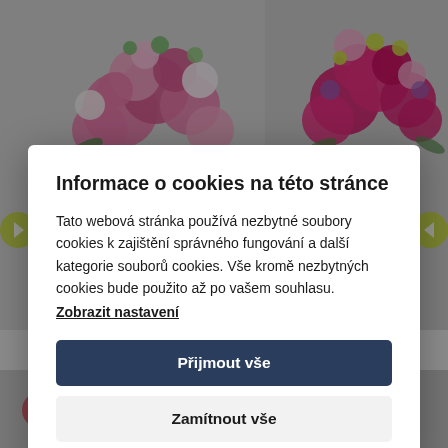[Figure (photo): Two flower bouquets (pink roses and mixed flowers) in glass vases, visible at the top of the page behind a cookie consent modal. Additional flower bouquets visible at the bottom.]
Informace o cookies na této stránce
Tato webová stránka používá nezbytné soubory cookies k zajištění správného fungování a další kategorie souborů cookies. Vše kromě nezbytných cookies bude použito až po vašem souhlasu.
Zobrazit nastavení
Přijmout vše
Zamítnout vše